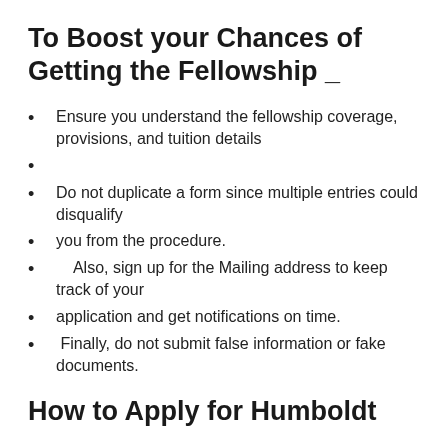To Boost your Chances of Getting the Fellowship _
Ensure you understand the fellowship coverage, provisions, and tuition details
Do not duplicate a form since multiple entries could disqualify
you from the procedure.
Also, sign up for the Mailing address to keep track of your
application and get notifications on time.
Finally, do not submit false information or fake documents.
How to Apply for Humboldt